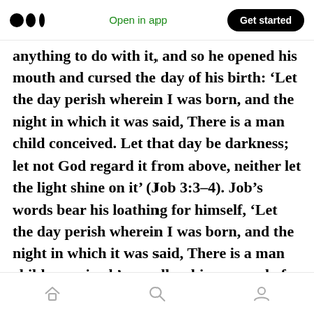Medium logo | Open in app | Get started
anything to do with it, and so he opened his mouth and cursed the day of his birth: ‘Let the day perish wherein I was born, and the night in which it was said, There is a man child conceived. Let that day be darkness; let not God regard it from above, neither let the light shine on it’ (Job 3:3–4). Job’s words bear his loathing for himself, ‘Let the day perish wherein I was born, and the night in which it was said, There is a man child conceived,’ as well as his reproval of himself and sense of indebtedness for causing pain to God, ‘Let that day be darkness; let not God regard it
Home | Search | Profile